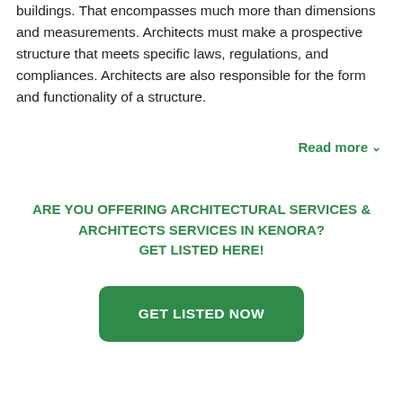buildings. That encompasses much more than dimensions and measurements. Architects must make a prospective structure that meets specific laws, regulations, and compliances. Architects are also responsible for the form and functionality of a structure.
Read more ∨
ARE YOU OFFERING ARCHITECTURAL SERVICES & ARCHITECTS SERVICES IN KENORA? GET LISTED HERE!
GET LISTED NOW